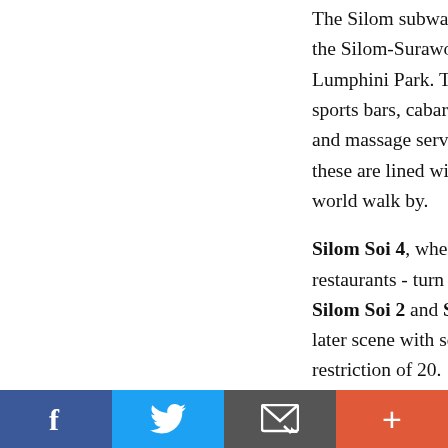The Silom subway (MRT) stop and the Sa[la Daeng BTS station sit at the top of] the Silom-Surawong district, just off the R[ama IV road and adjacent to] Lumphini Park. This popular gay tourist d[istrict is filled with bars,] sports bars, cabaret showbars, go-go danc[e clubs, gay-friendly hotels,] and massage services crowding each narro[w lane. The sidewalks of] these are lined with terrace tables for kicki[ng back and watching the] world walk by.

Silom Soi 4, where many people begin the[ir Silom evenings, is lined with] restaurants - turn right a short distance up[...]
Silom Soi 2 and Silom Soi 2/1, between th[e main road is home to the] later scene with some of the area's best da[nce clubs with age] restriction of 20.

Between S... and R... Y Soi R...
[Figure (other): Social sharing bar with four buttons: Facebook (blue), Twitter (light blue), Email/envelope (gray), and plus/more (orange-red)]